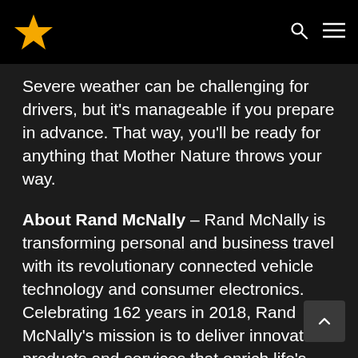Rand McNally navigation website header with star logo, search icon, and menu icon
Severe weather can be challenging for drivers, but it’s manageable if you prepare in advance. That way, you’ll be ready for anything that Mother Nature throws your way.
About Rand McNally – Rand McNally is transforming personal and business travel with its revolutionary connected vehicle technology and consumer electronics. Celebrating 162 years in 2018, Rand McNally’s mission is to deliver innovative products and services that enrich life’s journey in four key segments: Consumer Electronics, Consumer Travel, Commercial Transportation, and Education.